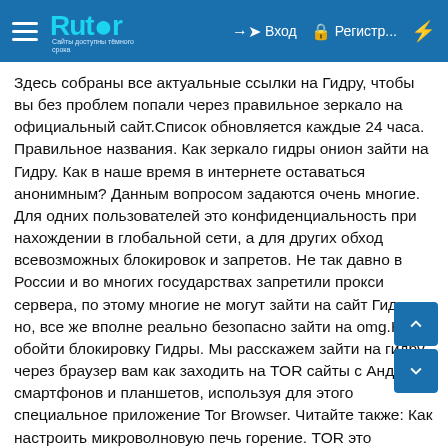Rutor — Вход — Регистр...
Здесь собраны все актуальные ссылки на Гидру, чтобы вы без проблем попали через правильное зеркало на официальный сайт.Список обновляется каждые 24 часа. Правильное названия. Как зеркало гидры онион зайти на Гидру. Как в наше время в интернете оставаться анонимным? Данным вопросом задаются очень многие. Для одних пользователей это конфиденциальность при нахождении в глобальной сети, а для других обход всевозможных блокировок и запретов. Не так давно в России и во многих государствах запретили прокси сервера, по этому многие не могут зайти на сайт Гидры, но, все же вполне реально безопасно зайти на omg.Как обойти блокировку Гидры. Мы расскажем зайти на гидру через браузер вам как заходить на TOR сайты с Андроид смартфонов и планшетов, используя для этого специальное приложение Tor Browser. Читайте также: Как настроить микроволновую печь горение. TOR это децентрализованная система прокси-серверов, где каждый участник может выступать как сервер и клиент: подключившись к тору со